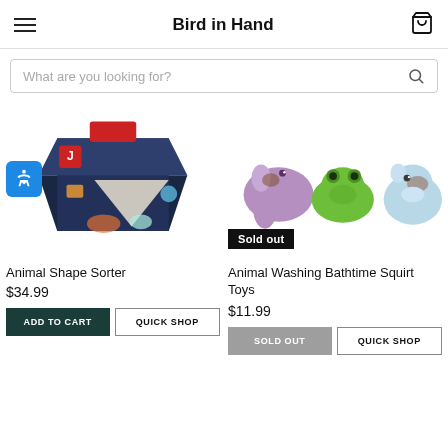Bird in Hand
What are you looking for?
[Figure (photo): Animal Shape Sorter toy box — dark navy box with colorful animal shapes and geometric cutouts]
Animal Shape Sorter
$34.99
[Figure (photo): Three cute animal squirt toys: a purple elephant, a green frog, and a light blue hippo. Badge reads 'Sold out']
Animal Washing Bathtime Squirt Toys
$11.99